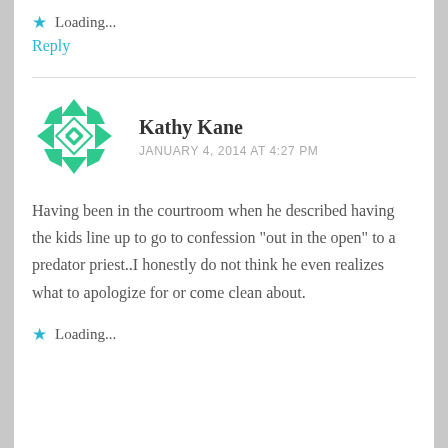★ Loading...
Reply
Kathy Kane
JANUARY 4, 2014 AT 4:27 PM
Having been in the courtroom when he described having the kids line up to go to confession "out in the open" to a predator priest..I honestly do not think he even realizes what to apologize for or come clean about.
★ Loading...